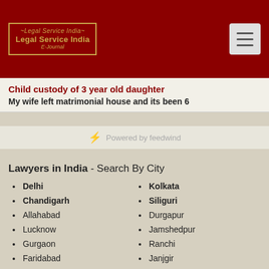[Figure (logo): Legal Service India E-Journal logo in gold on dark red background]
Child custody of 3 year old daughter
My wife left matrimonial house and its been 6...
Powered by feedwind
Lawyers in India - Search By City
Delhi
Chandigarh
Allahabad
Lucknow
Gurgaon
Faridabad
Noida
Ghaziabad
Jalandhar
Agra
Jodhpur
Kolkata
Siliguri
Durgapur
Jamshedpur
Ranchi
Janjgir
Dimapur
Guwahati
New Delhi
Ludhiana
Jaipur